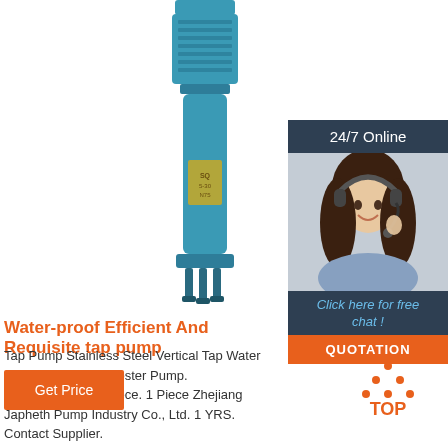[Figure (photo): Submersible vertical tap water pump, teal/blue color, tall cylindrical shape with motor housing at top and foot valves at bottom]
[Figure (photo): 24/7 Online customer service sidebar: dark header reading '24/7 Online', photo of smiling woman with headset, blue italic text 'Click here for free chat !', orange button 'QUOTATION']
Water-proof Efficient And Requisite tap pump
Tap Pump Stainless Steel Vertical Tap Water Second Pipeline Booster Pump. $122.50-$125.00 Piece. 1 Piece Zhejiang Japheth Pump Industry Co., Ltd. 1 YRS. Contact Supplier.
[Figure (other): Orange 'Get Price' button]
[Figure (logo): TOP logo with orange dots arranged as triangle above orange 'TOP' text]